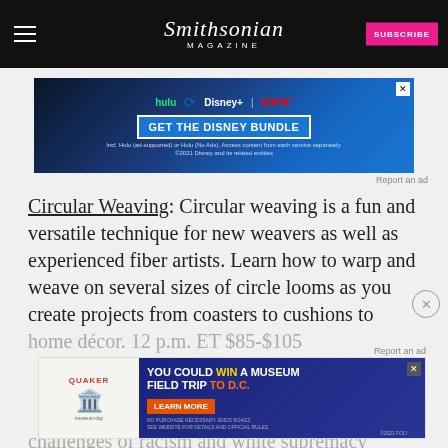Smithsonian MAGAZINE
[Figure (other): Disney Bundle advertisement banner with Hulu, Disney+, ESPN+ logos and GET THE DISNEY BUNDLE text]
Report an ad
Circular Weaving: Circular weaving is a fun and versatile technique for new weavers as well as experienced fiber artists. Learn how to warp and weave on several sizes of circle looms as you create projects from coasters to cushions to home décor. 12 p.m. ET $85-$105
Report an ad
[Figure (other): Quaker Museum Day advertisement: YOU COULD WIN A MUSEUM FIELD TRIP TO D.C. No purchase necessary. Ends 9/14/22. See website for details and official rules.]
challenges of racism and white supremacy